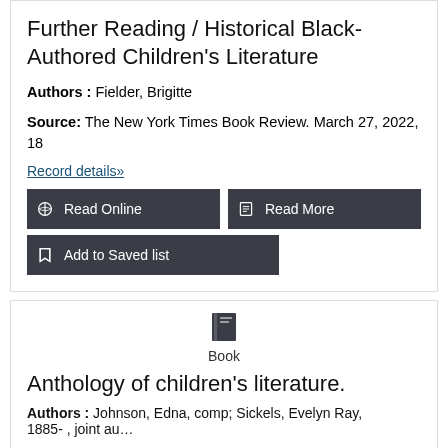Further Reading / Historical Black-Authored Children's Literature
Authors : Fielder, Brigitte
Source: The New York Times Book Review. March 27, 2022, 18
Record details»
Read Online
Read More
Add to Saved list
Book
Anthology of children's literature.
Authors : Johnson, Edna, comp; Sickels, Evelyn Ray, 1885-  , joint au…